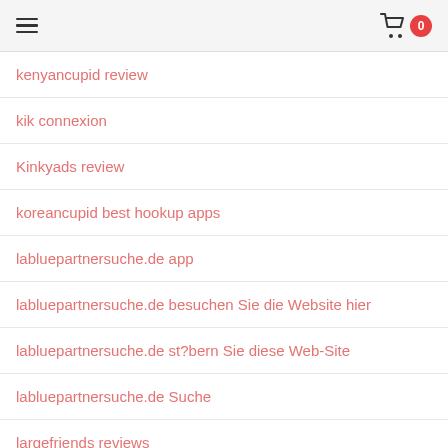≡  [cart] 0
kenyancupid review
kik connexion
Kinkyads review
koreancupid best hookup apps
labluepartnersuche.de app
labluepartnersuche.de besuchen Sie die Website hier
labluepartnersuche.de st?bern Sie diese Web-Site
labluepartnersuche.de Suche
largefriends reviews
Latina Live Webcam Porn